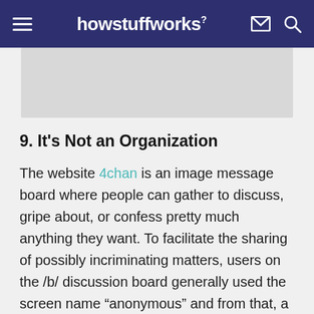howstuffworks
[Figure (other): Gray advertisement banner placeholder]
9. It's Not an Organization
The website 4chan is an image message board where people can gather to discuss, gripe about, or confess pretty much anything they want. To facilitate the sharing of possibly incriminating matters, users on the /b/ discussion board generally used the screen name “anonymous” and from that, a subculture of similar-minded individuals with a